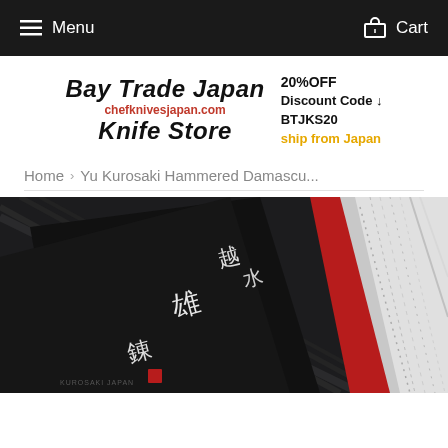Menu  Cart
[Figure (logo): Bay Trade Japan Knife Store logo with chefknivesjapan.com URL, 20%OFF discount code BTJKS20, ship from Japan text]
Home > Yu Kurosaki Hammered Damascu...
[Figure (photo): Close-up photo of a Japanese knife with hammered Damascus steel blade, red accent, and Japanese calligraphy engraved on the black blade box.]